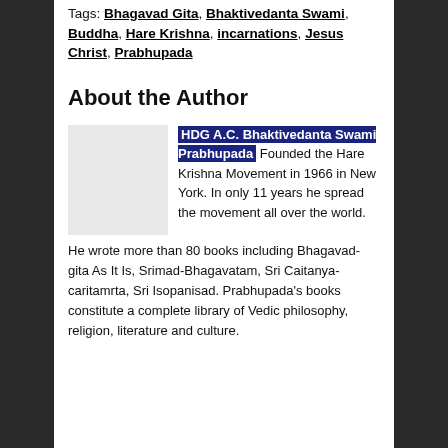Tags: Bhagavad Gita, Bhaktivedanta Swami, Buddha, Hare Krishna, incarnations, Jesus Christ, Prabhupada
About the Author
HDG A.C. Bhaktivedanta Swami Prabhupada Founded the Hare Krishna Movement in 1966 in New York. In only 11 years he spread the movement all over the world. He wrote more than 80 books including Bhagavad-gita As It Is, Srimad-Bhagavatam, Sri Caitanya-caritamrta, Sri Isopanisad. Prabhupada's books constitute a complete library of Vedic philosophy, religion, literature and culture.